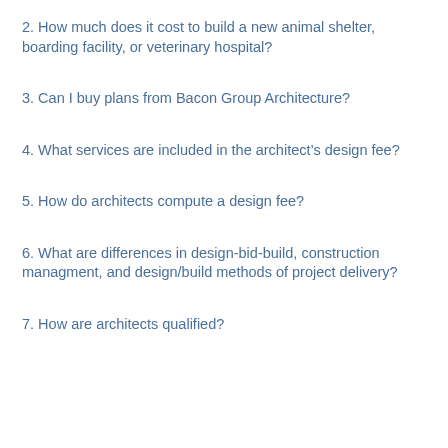2. How much does it cost to build a new animal shelter, boarding facility, or veterinary hospital?
3. Can I buy plans from Bacon Group Architecture?
4. What services are included in the architect's design fee?
5. How do architects compute a design fee?
6. What are differences in design-bid-build, construction managment, and design/build methods of project delivery?
7. How are architects qualified?